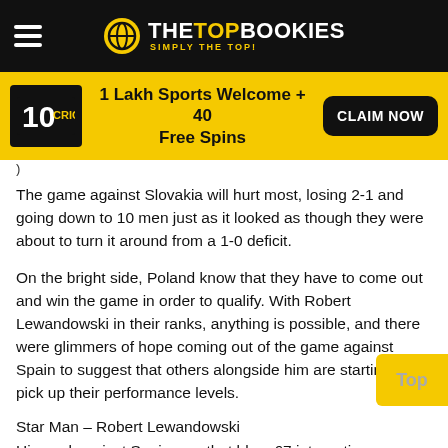THE TOP BOOKIES — SIMPLY THE TOP!
[Figure (infographic): 10CRIC banner: 1 Lakh Sports Welcome + 40 Free Spins with CLAIM NOW button]
The game against Slovakia will hurt most, losing 2-1 and going down to 10 men just as it looked as though they were about to turn it around from a 1-0 deficit.
On the bright side, Poland know that they have to come out and win the game in order to qualify. With Robert Lewandowski in their ranks, anything is possible, and there were glimmers of hope coming out of the game against Spain to suggest that others alongside him are starting to pick up their performance levels.
Star Man – Robert Lewandowski